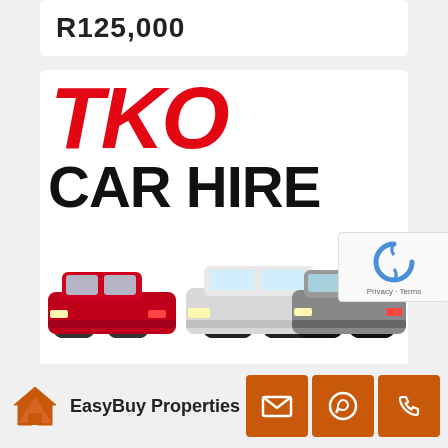R125,000
[Figure (logo): TKO Car Hire advertisement showing large red italic TKO text above black CAR HIRE text with three cars (red hatchback, white sedan, grey sedan) below]
[Figure (logo): reCAPTCHA widget overlay with spinning arrows logo and Privacy · Terms text]
[Figure (logo): EasyBuy Properties logo - small mountain/house icon with company name]
EasyBuy Properties
[Figure (infographic): Three orange square buttons with white icons: email envelope, WhatsApp phone, telephone handset]